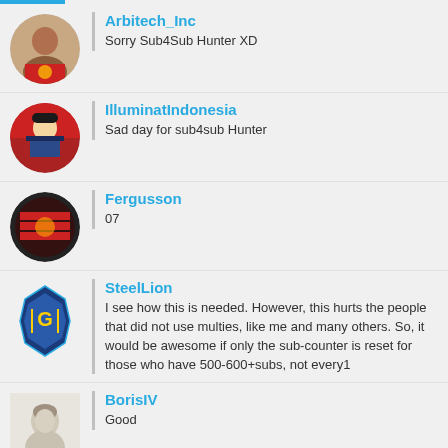Arbitech_Inc
Sorry Sub4Sub Hunter XD
IlluminatIndonesia
Sad day for sub4sub Hunter
Fergusson
07
SteelLion
I see how this is needed. However, this hurts the people that did not use multies, like me and many others. So, it would be awesome if only the sub-counter is reset for those who have 500-600+subs, not every1
BorisIV
Good
Yamamoto
admin l how to use houses ?